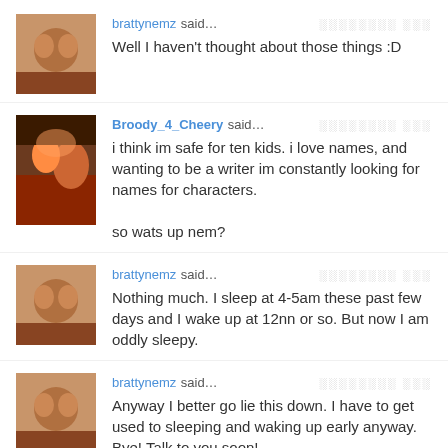brattynemz said… Well I haven't thought about those things :D
Broody_4_Cheery said… i think im safe for ten kids. i love names, and wanting to be a writer im constantly looking for names for characters.

so wats up nem?
brattynemz said… Nothing much. I sleep at 4-5am these past few days and I wake up at 12nn or so. But now I am oddly sleepy.
brattynemz said… Anyway I better go lie this down. I have to get used to sleeping and waking up early anyway. Bye! Talk to you soon!